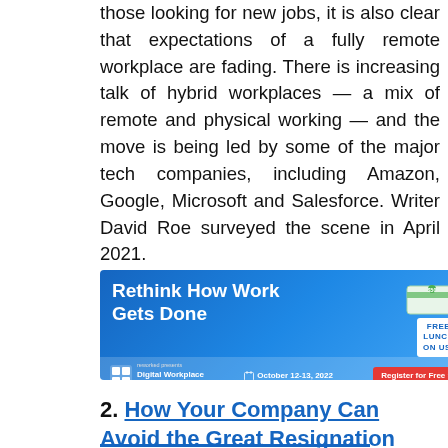those looking for new jobs, it is also clear that expectations of a fully remote workplace are fading. There is increasing talk of hybrid workplaces — a mix of remote and physical working — and the move is being led by some of the major tech companies, including Amazon, Google, Microsoft and Salesforce. Writer David Roe surveyed the scene in April 2021.
[Figure (infographic): Advertisement banner for Digital Workplace Experience event. Blue gradient background with bold white text 'Rethink How Work Gets Done'. Right side shows a gift card graphic and 'FREE LUNCH ON US!' text in white box. Bottom bar shows Digital Workplace Experience logo, October 12-13, 2022 date, and 'Register for Free' red button.]
2. How Your Company Can Avoid the Great Resignation